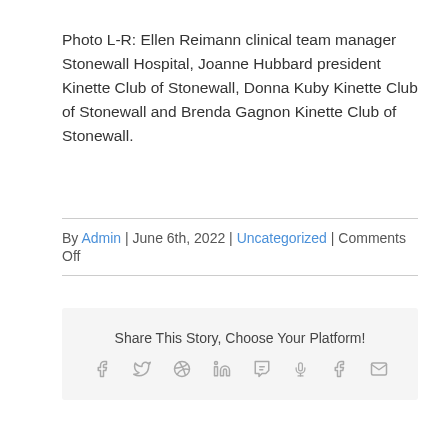Photo L-R: Ellen Reimann clinical team manager Stonewall Hospital, Joanne Hubbard president Kinette Club of Stonewall, Donna Kuby Kinette Club of Stonewall and Brenda Gagnon Kinette Club of Stonewall.
By Admin | June 6th, 2022 | Uncategorized | Comments Off
Share This Story, Choose Your Platform!
[Figure (infographic): Social share icons row: Facebook, Twitter, Reddit, LinkedIn, Tumblr, Pinterest, VK, Email]